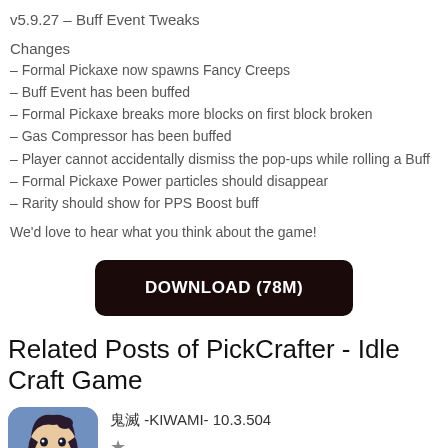v5.9.27 – Buff Event Tweaks
Changes
– Formal Pickaxe now spawns Fancy Creeps
– Buff Event has been buffed
– Formal Pickaxe breaks more blocks on first block broken
– Gas Compressor has been buffed
– Player cannot accidentally dismiss the pop-ups while rolling a Buff
– Formal Pickaxe Power particles should disappear
– Rarity should show for PPS Boost buff
We'd love to hear what you think about the game!
[Figure (other): DOWNLOAD (78M) button]
Related Posts of PickCrafter - Idle Craft Game
[Figure (illustration): Game icon for 鬼滅 -KIWAMI- 10.3.504]
鬼滅 -KIWAMI- 10.3.504 ★